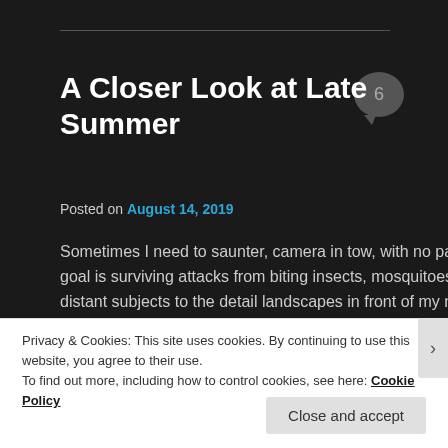A Closer Look at Late Summer
Posted on August 14, 2019
Sometimes I need to saunter, camera in tow, with no particular destination or photographic agenda. My only serious goal is surviving attacks from biting insects, mosquitoes and deer flies in particular. The slow pace shifts my gaze from distant subjects to the detail landscapes in front of my nose.
Privacy & Cookies: This site uses cookies. By continuing to use this website, you agree to their use.
To find out more, including how to control cookies, see here: Cookie Policy